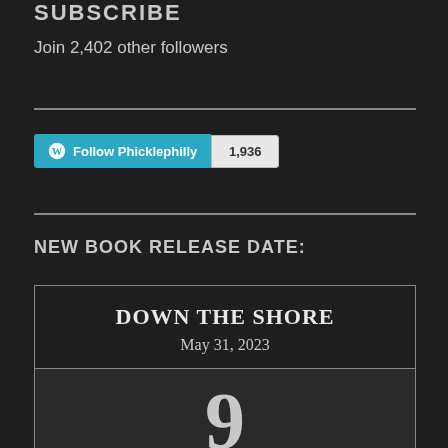SUBSCRIBE
Join 2,402 other followers
[Figure (other): WordPress Follow button for Phicklephilly with follower count badge showing 1,936]
NEW BOOK RELEASE DATE:
DOWN THE SHORE
May 31, 2023
9